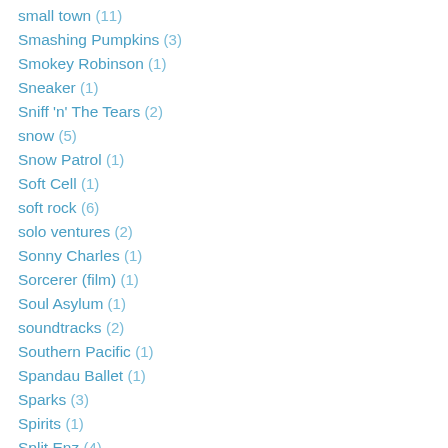small town (11)
Smashing Pumpkins (3)
Smokey Robinson (1)
Sneaker (1)
Sniff 'n' The Tears (2)
snow (5)
Snow Patrol (1)
Soft Cell (1)
soft rock (6)
solo ventures (2)
Sonny Charles (1)
Sorcerer (film) (1)
Soul Asylum (1)
soundtracks (2)
Southern Pacific (1)
Spandau Ballet (1)
Sparks (3)
Spirits (1)
Split Enz (4)
spring (3)